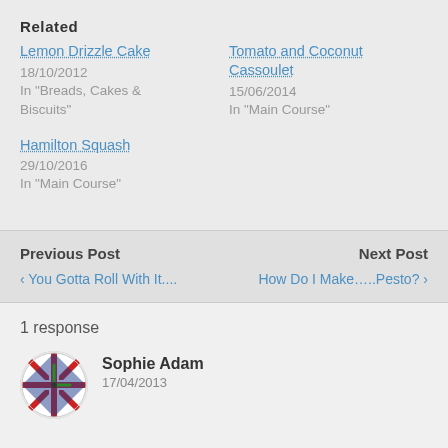Related
Lemon Drizzle Cake
18/10/2012
In "Breads, Cakes & Biscuits"
Tomato and Coconut Cassoulet
15/06/2014
In "Main Course"
Hamilton Squash
29/10/2016
In "Main Course"
Previous Post
‹ You Gotta Roll With It....
Next Post
How Do I Make…..Pesto? ›
1 response
Sophie Adam
17/04/2013